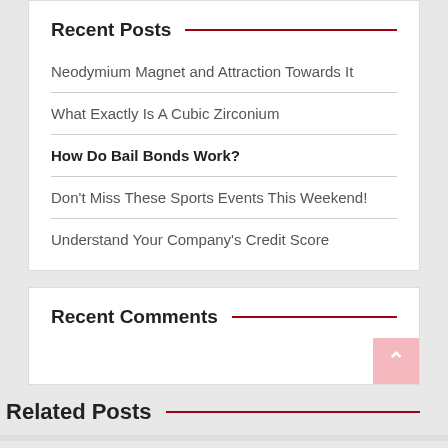Recent Posts
Neodymium Magnet and Attraction Towards It
What Exactly Is A Cubic Zirconium
How Do Bail Bonds Work?
Don't Miss These Sports Events This Weekend!
Understand Your Company's Credit Score
Recent Comments
Related Posts